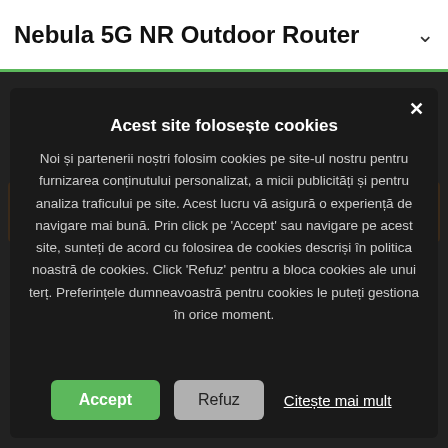Nebula 5G NR Outdoor Router
Nebula NR7101
Acest site folosește cookies
Noi și partenerii noștri folosim cookies pe site-ul nostru pentru furnizarea conținutului personalizat, a micii publicități și pentru analiza traficului pe site. Acest lucru vă asigură o experiență de navigare mai bună. Prin click pe 'Accept' sau navigare pe acest site, sunteți de acord cu folosirea de cookies descriși în politica noastră de cookies. Click 'Refuz' pentru a bloca cookies ale unui terț. Preferințele dumneavoastră pentru cookies le puteți gestiona în orice moment.
Accept
Refuz
Citește mai mult